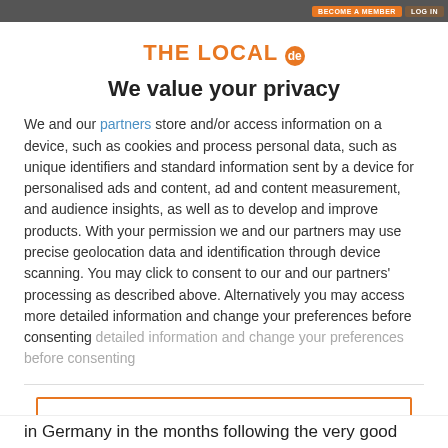BECOME A MEMBER   LOG IN
[Figure (logo): THE LOCAL de logo in orange with circular badge]
We value your privacy
We and our partners store and/or access information on a device, such as cookies and process personal data, such as unique identifiers and standard information sent by a device for personalised ads and content, ad and content measurement, and audience insights, as well as to develop and improve products. With your permission we and our partners may use precise geolocation data and identification through device scanning. You may click to consent to our and our partners' processing as described above. Alternatively you may access more detailed information and change your preferences before consenting
ACCEPT
MORE OPTIONS
in Germany in the months following the very good